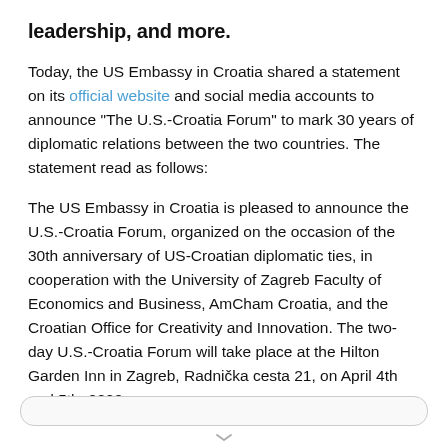leadership, and more.
Today, the US Embassy in Croatia shared a statement on its official website and social media accounts to announce "The U.S.-Croatia Forum" to mark 30 years of diplomatic relations between the two countries. The statement read as follows:
The US Embassy in Croatia is pleased to announce the U.S.-Croatia Forum, organized on the occasion of the 30th anniversary of US-Croatian diplomatic ties, in cooperation with the University of Zagreb Faculty of Economics and Business, AmCham Croatia, and the Croatian Office for Creativity and Innovation. The two-day U.S.-Croatia Forum will take place at the Hilton Garden Inn in Zagreb, Radnička cesta 21, on April 4th and 5th, 2022.